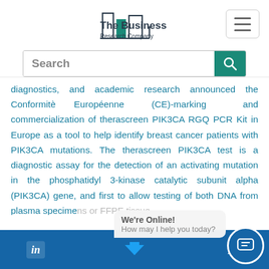[Figure (logo): The Business Research Company logo with teal/dark building graph icon and text]
Search
diagnostics, and academic research announced the Conformitè Européenne (CE)-marking and commercialization of therascreen PIK3CA RGQ PCR Kit in Europe as a tool to help identify breast cancer patients with PIK3CA mutations. The therascreen PIK3CA test is a diagnostic assay for the detection of an activating mutation in the phosphatidyl 3-kinase catalytic subunit alpha (PIK3CA) gene, and first to allow testing of both DNA from plasma specimens or FFPE tissue
We're Online! How may I help you today?